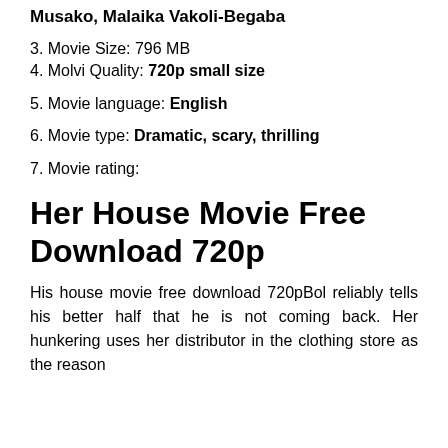Musako, Malaika Vakoli-Begaba
3. Movie Size: 796 MB
4. Molvi Quality: 720p small size
5. Movie language: English
6. Movie type: Dramatic, scary, thrilling
7. Movie rating:
Her House Movie Free Download 720p
His house movie free download 720pBol reliably tells his better half that he is not coming back. Her hunkering uses her distributor in the clothing store as the reason